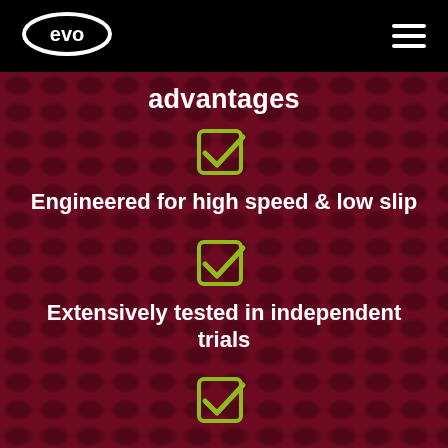[Figure (logo): EVO brand logo — white oval with 'evo' text inside, on black header bar]
advantages
Engineered for high speed & low slip
Extensively tested in independent trials